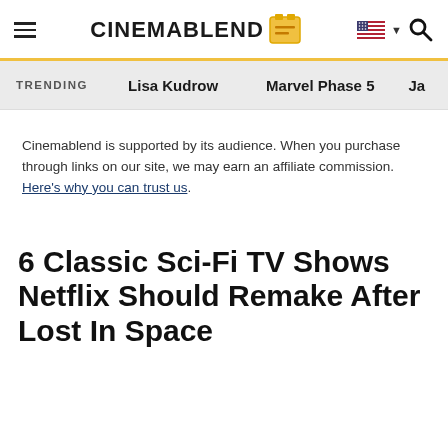CinemaBlend
TRENDING   Lisa Kudrow   Marvel Phase 5   Ja...
Cinemablend is supported by its audience. When you purchase through links on our site, we may earn an affiliate commission. Here's why you can trust us.
6 Classic Sci-Fi TV Shows Netflix Should Remake After Lost In Space